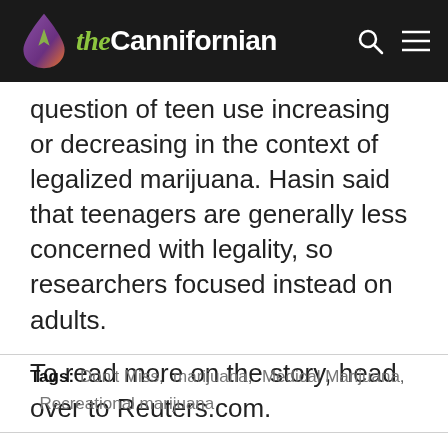the Cannifornian
question of teen use increasing or decreasing in the context of legalized marijuana. Hasin said that teenagers are generally less concerned with legality, so researchers focused instead on adults.
To read more on the story, head over to Reuters.com.
Tags: Don't Miss, marijuana, Medical Marijuana, Recreational marijuana